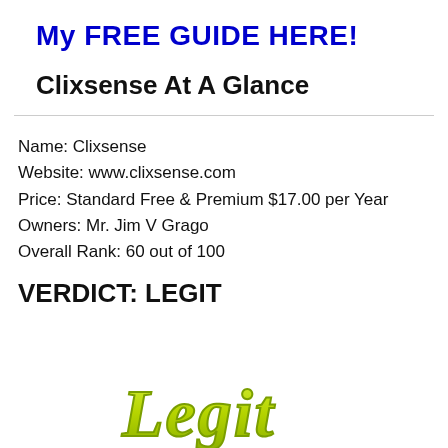My FREE GUIDE HERE!
Clixsense At A Glance
Name: Clixsense
Website: www.clixsense.com
Price: Standard Free & Premium $17.00 per Year
Owners: Mr. Jim V Grago
Overall Rank: 60 out of 100
VERDICT: LEGIT
[Figure (illustration): Stylized green 'Legit' text logo at bottom of page]